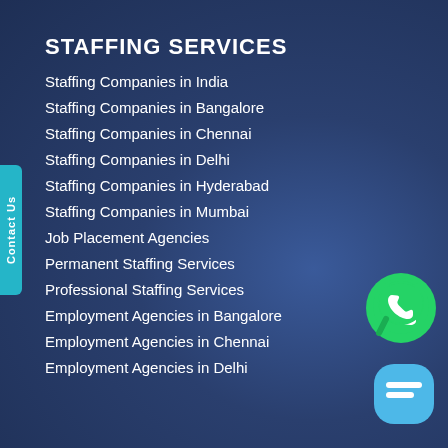STAFFING SERVICES
Staffing Companies in India
Staffing Companies in Bangalore
Staffing Companies in Chennai
Staffing Companies in Delhi
Staffing Companies in Hyderabad
Staffing Companies in Mumbai
Job Placement Agencies
Permanent Staffing Services
Professional Staffing Services
Employment Agencies in Bangalore
Employment Agencies in Chennai
Employment Agencies in Delhi
[Figure (logo): WhatsApp icon - green circle with phone handset]
[Figure (logo): Chat bubble icon - light blue rounded square with chat symbol]